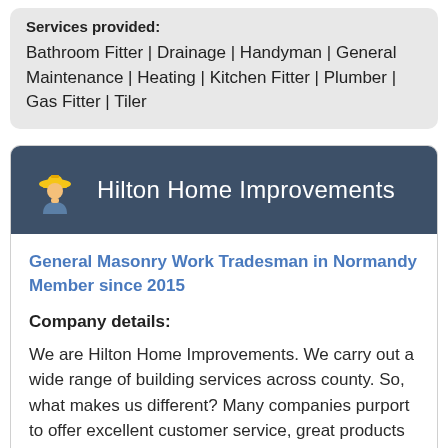Services provided:
Bathroom Fitter | Drainage | Handyman | General Maintenance | Heating | Kitchen Fitter | Plumber | Gas Fitter | Tiler
Hilton Home Improvements
General Masonry Work Tradesman in Normandy
Member since 2015
Company details:
We are Hilton Home Improvements. We carry out a wide range of building services across county. So, what makes us different? Many companies purport to offer excellent customer service, great products and exceptional value for money. As do we! Where...